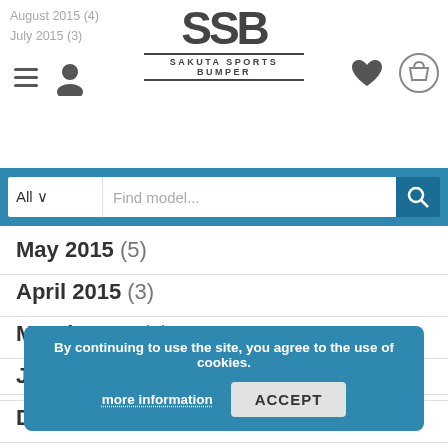SSB SAKUTA SPORTS BUMPER
August 2015 (4)
July 2015 (3)
May 2015 (5)
April 2015 (3)
March 2015 (2)
January 2015 (1)
December 2014 (1)
November 2014 (3)
October 2014 (5)
September 2014 (3)
August 2014 (4)
By continuing to use the site, you agree to the use of cookies.
more information
ACCEPT